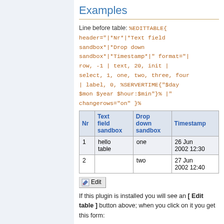Examples
Line before table: %EDITTABLE{ header="|*Nr*|*Text field sandbox*|*Drop down sandbox*|*Timestamp*|" format="| row, -1 | text, 20, init | select, 1, one, two, three, four | label, 0, %SERVERTIME{"$day $mon $year $hour:$min"}% |" changerows="on" }%
| Nr | Text field sandbox | Drop down sandbox | Timestamp |
| --- | --- | --- | --- |
| 1 | hello
table | one | 26 Jun 2002 12:30 |
| 2 |  | two | 27 Jun 2002 12:40 |
[ Edit ]
If this plugin is installed you will see an [ Edit table ] button above; when you click on it you get this form: